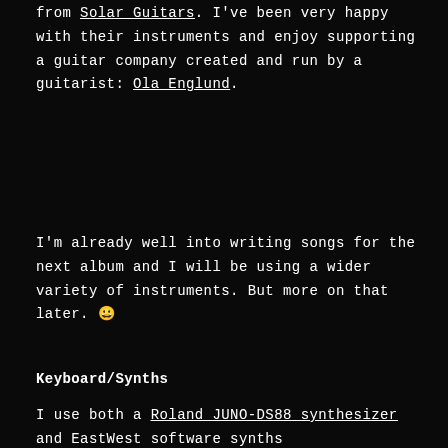from Solar Guitars. I've been very happy with their instruments and enjoy supporting a guitar company created and run by a guitarist: Ola Englund.
I'm already well into writing songs for the next album and I will be using a wider variety of instruments. But more on that later. 😀
Keyboard/Synths
I use both a Roland JUNO-DS88 synthesizer and EastWest software synths